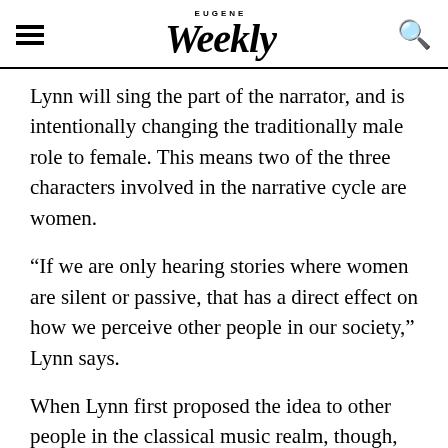EUGENE Weekly
Lynn will sing the part of the narrator, and is intentionally changing the traditionally male role to female. This means two of the three characters involved in the narrative cycle are women.
“If we are only hearing stories where women are silent or passive, that has a direct effect on how we perceive other people in our society,” Lynn says.
When Lynn first proposed the idea to other people in the classical music realm, though, she